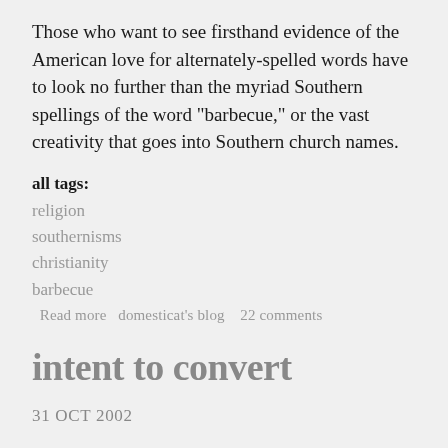Those who want to see firsthand evidence of the American love for alternately-spelled words have to look no further than the myriad Southern spellings of the word "barbecue," or the vast creativity that goes into Southern church names.
all tags:
religion
southernisms
christianity
barbecue
Read more   domesticat's blog   22 comments
intent to convert
31 OCT 2002